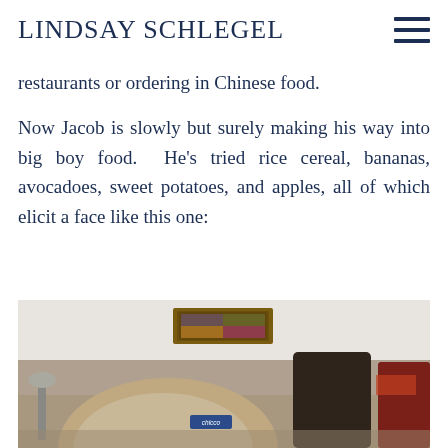LINDSAY SCHLEGEL
restaurants or ordering in Chinese food.
Now Jacob is slowly but surely making his way into big boy food.  He's tried rice cereal, bananas, avocadoes, sweet potatoes, and apples, all of which elicit a face like this one:
[Figure (photo): Photo of a baby on a couch with dark pillows and a decorative frame on the wall behind. A Chicco brand tag is visible on the couch cushion.]